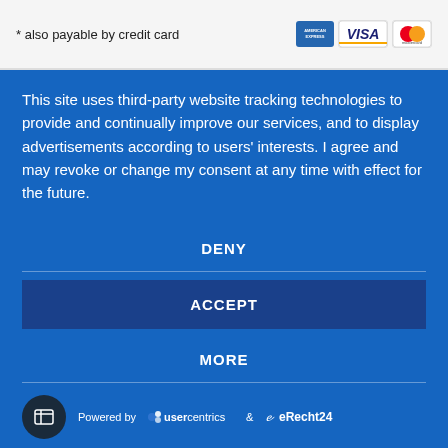* also payable by credit card
[Figure (logo): American Express, Visa, and Mastercard credit card logos]
This site uses third-party website tracking technologies to provide and continually improve our services, and to display advertisements according to users' interests. I agree and may revoke or change my consent at any time with effect for the future.
DENY
ACCEPT
MORE
Powered by usercentrics & eRecht24